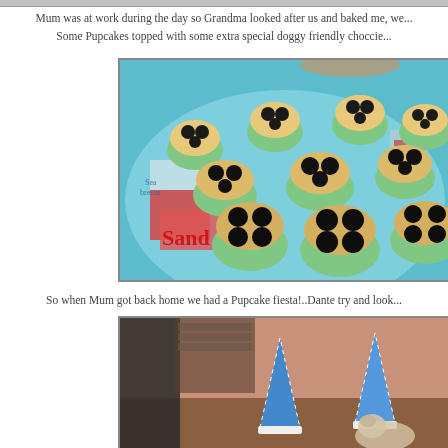Mum was at work during the day so Grandma looked after us and baked me, we... Some Pupcakes topped with some extra special doggy friendly choccie...
[Figure (photo): Photo of dog-themed cupcakes (pupcakes) in green cupcake liners arranged on a colorful beach-themed tablecloth. Each cupcake is topped with dark chocolate drops arranged like paw prints.]
So when Mum got back home we had a Pupcake fiesta!..Dante try and look...
[Figure (photo): Photo showing party hats (blue and white pointed) in what appears to be a room setting, beginning of a party scene.]